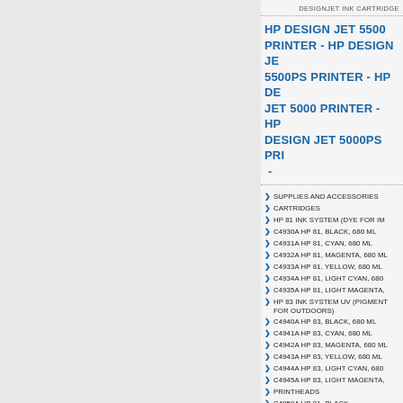DESIGNJET INK CARTRIDGE
HP DESIGN JET 5500 PRINTER - HP DESIGN JET 5500PS PRINTER - HP DE JET 5000 PRINTER - HP DESIGN JET 5000PS PRI -
SUPPLIES AND ACCESSORIES
CARTRIDGES
HP 81 INK SYSTEM (DYE FOR IM
C4930A HP 81, BLACK, 680 ML
C4931A HP 81, CYAN, 680 ML
C4932A HP 81, MAGENTA, 680 ML
C4933A HP 81, YELLOW, 680 ML
C4934A HP 81, LIGHT CYAN, 680
C4935A HP 81, LIGHT MAGENTA,
HP 83 INK SYSTEM UV (PIGMENT FOR OUTDOORS)
C4940A HP 83, BLACK, 680 ML
C4941A HP 83, CYAN, 680 ML
C4942A HP 83, MAGENTA, 680 ML
C4943A HP 83, YELLOW, 680 ML
C4944A HP 83, LIGHT CYAN, 680
C4945A HP 83, LIGHT MAGENTA,
PRINTHEADS
C4950A HP 81, BLACK